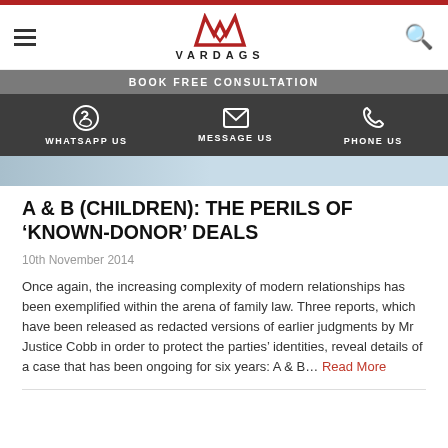VARDAGS
BOOK FREE CONSULTATION
WHATSAPP US   MESSAGE US   PHONE US
A & B (CHILDREN): THE PERILS OF ‘KNOWN-DONOR’ DEALS
10th November 2014
Once again, the increasing complexity of modern relationships has been exemplified within the arena of family law. Three reports, which have been released as redacted versions of earlier judgments by Mr Justice Cobb in order to protect the parties’ identities, reveal details of a case that has been ongoing for six years: A & B… Read More